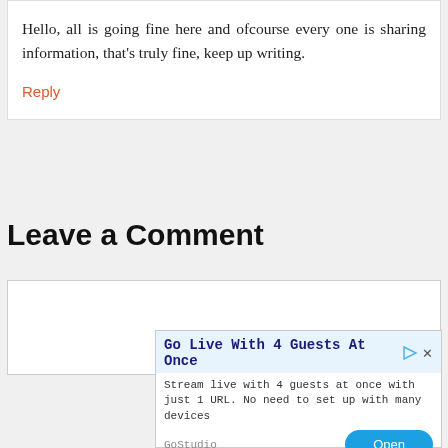Hello, all is going fine here and ofcourse every one is sharing information, that's truly fine, keep up writing.
Reply
Leave a Comment
[Figure (screenshot): Advertisement banner: 'Go Live With 4 Guests At Once' from GoStudio with an Open button]